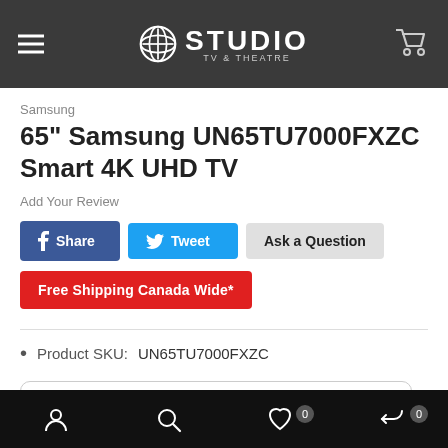STUDIO
Samsung
65" Samsung UN65TU7000FXZC Smart 4K UHD TV
Add Your Review
Share  Tweet  Ask a Question
Free Shipping Canada Wide*
Product SKU:    UN65TU7000FXZC
Navigation icons: user, search, wishlist (0), cart (0)